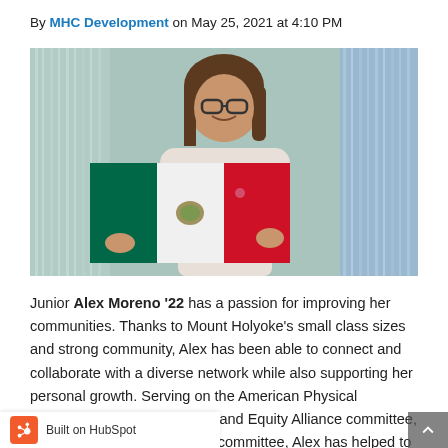By MHC Development on May 25, 2021 at 4:10 PM
[Figure (photo): A young woman smiling and holding a Mexican flag in front of silver tinsel curtain backdrop.]
Junior Alex Moreno '22 has a passion for improving her communities. Thanks to Mount Holyoke's small class sizes and strong community, Alex has been able to connect and collaborate with a diverse network while also supporting her personal growth. Serving on the American Physical Society's Inclusion, Diversity, and Equity Alliance committee, Reimagining Campus Safety committee, Alex has helped to ensure that students feel supported,